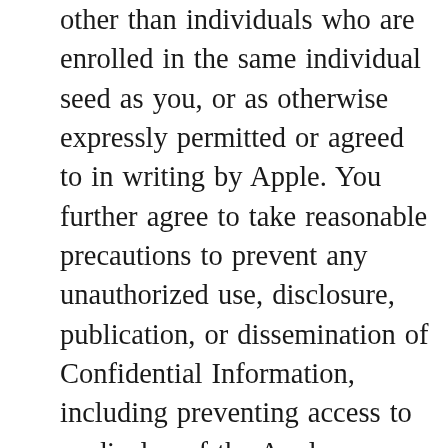other than individuals who are enrolled in the same individual seed as you, or as otherwise expressly permitted or agreed to in writing by Apple. You further agree to take reasonable precautions to prevent any unauthorized use, disclosure, publication, or dissemination of Confidential Information, including preventing access to or display of the Apple Software to third parties. You agree to use the Confidential Information solely for the permitted